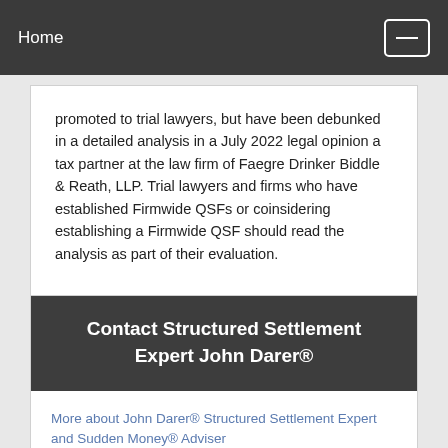Home
promoted to trial lawyers, but have been debunked in a detailed analysis in a July 2022 legal opinion a tax partner at the law firm of Faegre Drinker Biddle & Reath, LLP. Trial lawyers and firms who have established Firmwide QSFs or coinsidering establishing a Firmwide QSF should read the analysis as part of their evaluation.
Contact Structured Settlement Expert John Darer®
More about John Darer® Structured Settlement Expert and Sudden Money® Adviser